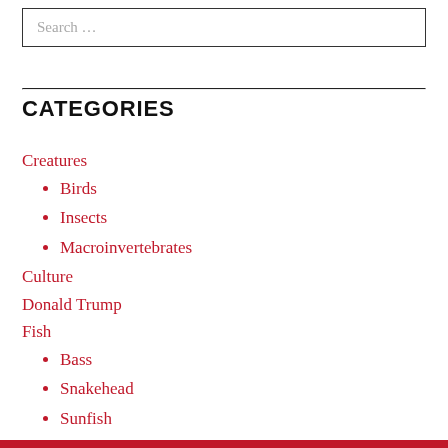Search …
CATEGORIES
Creatures
Birds
Insects
Macroinvertebrates
Culture
Donald Trump
Fish
Bass
Snakehead
Sunfish
Good reads
Immigrants